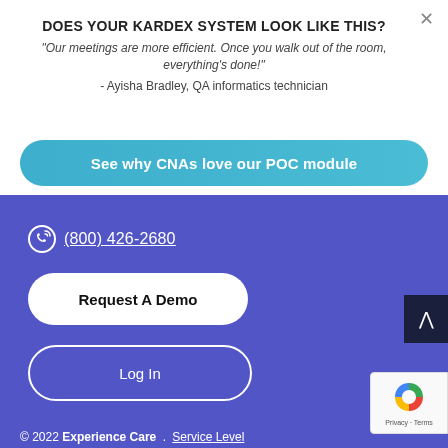DOES YOUR KARDEX SYSTEM LOOK LIKE THIS?
"Our meetings are more efficient. Once you walk out of the room, everything's done!"
- Ayisha Bradley, QA informatics technician
See why CNAs love our POC module
(800) 426-2680
Request A Demo
Log In
© 2022 Experience Care . Service Level